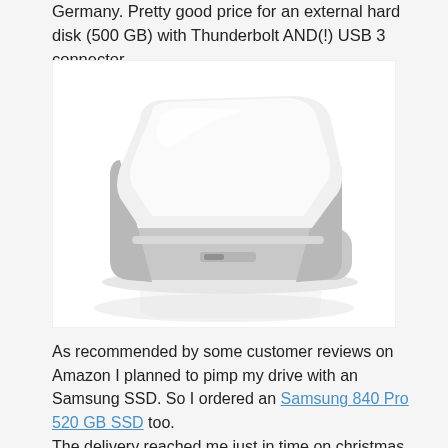Germany. Pretty good price for an external hard disk (500 GB) with Thunderbolt AND(!) USB 3 connector.
[Figure (photo): Photo of a white/silver portable external hard drive with rounded edges, shot from a slightly elevated angle showing the top and front. The device has a glossy white top surface and a silver metallic trim band around the edges. A reflection is visible beneath the device on a white surface.]
As recommended by some customer reviews on Amazon I planned to pimp my drive with an Samsung SSD. So I ordered an Samsung 840 Pro 520 GB SSD too.
The delivery reached me just in time on christmas eve.
Replacing the built-in 2...was a hard thing of the